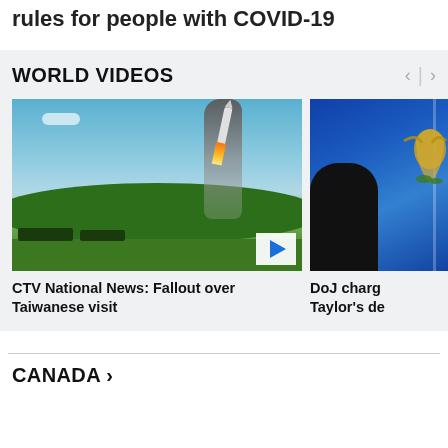rules for people with COVID-19
WORLD VIDEOS
[Figure (photo): A missile launching into the sky with smoke trail, green hills and military vehicles in foreground]
CTV National News: Fallout over Taiwanese visit
[Figure (photo): Partial view of an official standing in front of a blue flag with an eagle emblem]
DoJ charg Taylor's de
CANADA >